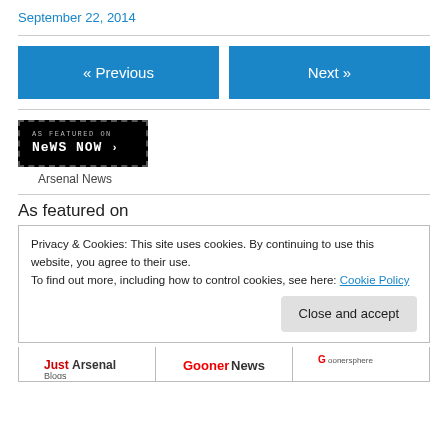September 22, 2014
[Figure (other): Navigation buttons: « Previous and Next »]
[Figure (logo): As Featured on News Now badge with Arsenal News caption]
As featured on
Privacy & Cookies: This site uses cookies. By continuing to use this website, you agree to their use.
To find out more, including how to control cookies, see here: Cookie Policy
Close and accept
[Figure (logo): Bottom logos: Just Arsenal Blogs, Gooner News, Goonersphere]